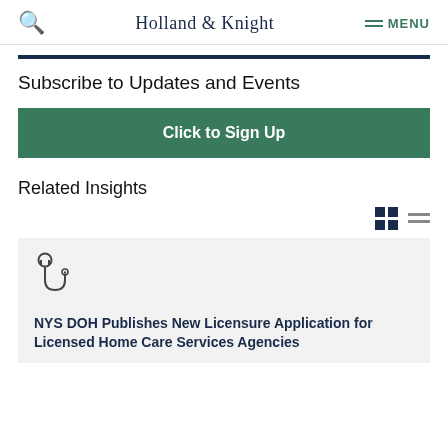Holland & Knight
Subscribe to Updates and Events
Click to Sign Up
Related Insights
NYS DOH Publishes New Licensure Application for Licensed Home Care Services Agencies